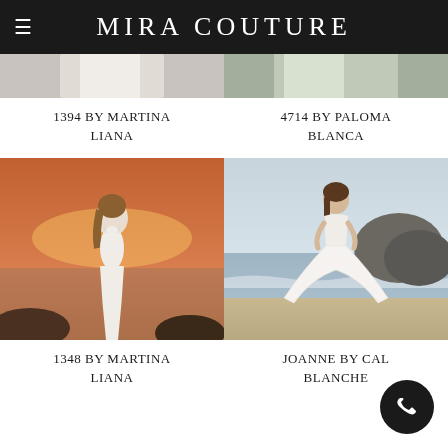MIRA COUTURE
[Figure (photo): Partially cropped photo of a bride in a wedding dress - top portion visible]
[Figure (photo): Partially cropped photo of a bride in a wedding dress outdoors - top portion visible]
1394 BY MARTINA LIANA
4714 BY PALOMA BLANCA
[Figure (photo): Photo of a bride in a fitted spaghetti-strap wedding gown standing on rocks at sunset beach]
[Figure (photo): Photo of a bride in a full-skirted lace ball gown standing on a beach with rocks in the background]
1348 BY MARTINA LIANA
JOANNE BY CAL BLANCHE